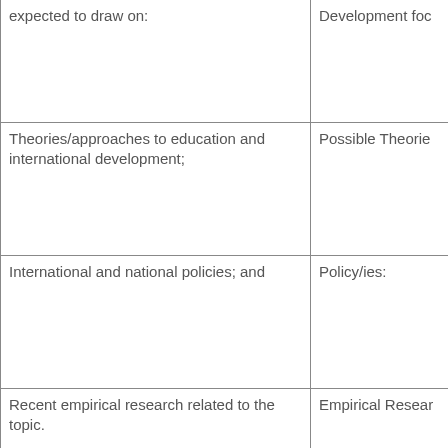| expected to draw on: | Development foc |
| Theories/approaches to education and international development; | Possible Theorie |
| International and national policies; and | Policy/ies: |
| Recent empirical research related to the topic. | Empirical Resear |